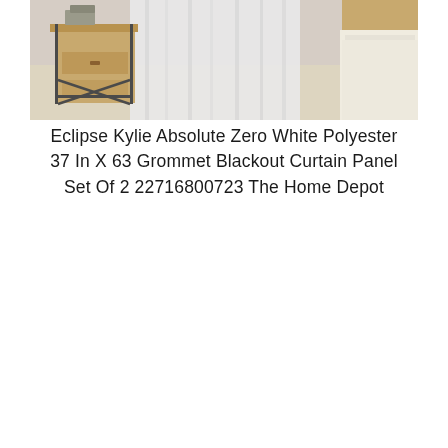[Figure (photo): A bedroom scene showing white sheer/blackout curtain panels hanging from a window, with a wooden nightstand with metal frame on the left, and part of a bed with cream-colored bedding on the right. Wood-tone flooring visible.]
Eclipse Kylie Absolute Zero White Polyester 37 In X 63 Grommet Blackout Curtain Panel Set Of 2 22716800723 The Home Depot